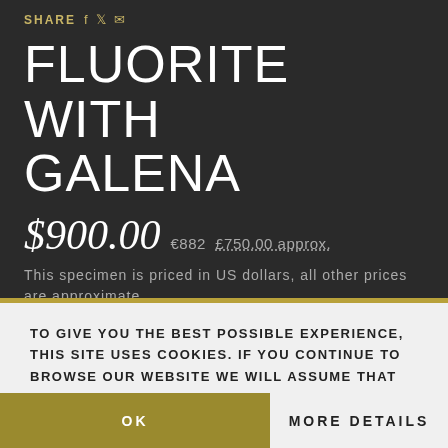SHARE
FLUORITE WITH GALENA
$900.00  €882  £750.00 approx.
This specimen is priced in US dollars, all other prices are approximate.
ID: CC21976
TO GIVE YOU THE BEST POSSIBLE EXPERIENCE, THIS SITE USES COOKIES. IF YOU CONTINUE TO BROWSE OUR WEBSITE WE WILL ASSUME THAT YOU ARE HAPPY TO RECEIVE COOKIES.
OK
MORE DETAILS